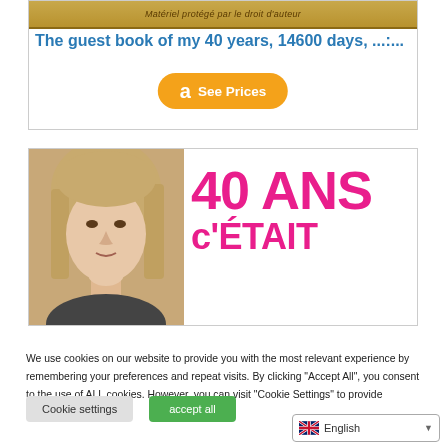[Figure (illustration): Book banner with text 'Matériel protégé par le droit d'auteur' on a golden/amber background]
The guest book of my 40 years, 14600 days, ...:...
[Figure (screenshot): Orange Amazon 'See Prices' button with Amazon 'a' logo]
[Figure (photo): Second card showing a woman's face on the left and large pink text '40 ANS c'ÉTAIT' on the right]
We use cookies on our website to provide you with the most relevant experience by remembering your preferences and repeat visits. By clicking "Accept All", you consent to the use of ALL cookies. However, you can visit "Cookie Settings" to provide controlled consent.
Cookie settings
accept all